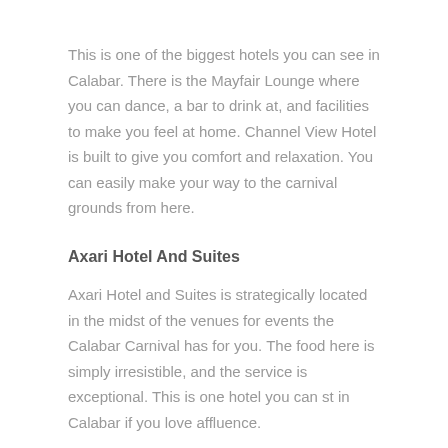This is one of the biggest hotels you can see in Calabar. There is the Mayfair Lounge where you can dance, a bar to drink at, and facilities to make you feel at home. Channel View Hotel is built to give you comfort and relaxation. You can easily make your way to the carnival grounds from here.
Axari Hotel And Suites
Axari Hotel and Suites is strategically located in the midst of the venues for events the Calabar Carnival has for you. The food here is simply irresistible, and the service is exceptional. This is one hotel you can st in Calabar if you love affluence.
Marian Hotels Limited
You may never know who you are going to see when you come to Marian Hotels Limited. Most Nollywood stars and artistes often make use of these hotels. Make your vacation in Calabar exciting during the carnival when you stay at this hotel.